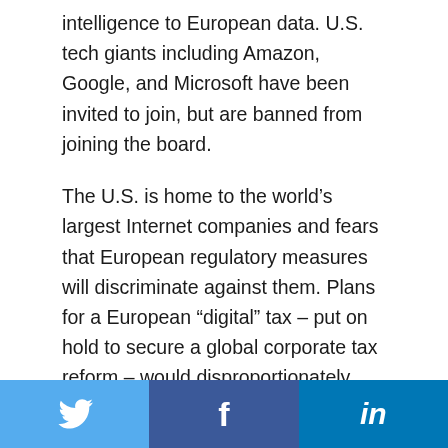intelligence to European data. U.S. tech giants including Amazon, Google, and Microsoft have been invited to join, but are banned from joining the board.
The U.S. is home to the world’s largest Internet companies and fears that European regulatory measures will discriminate against them. Plans for a European “digital” tax – put on hold to secure a global corporate tax reform – would disproportionately impact American companies that provide digital services in Europe. A separate Digital Markets Act proposal under
[Figure (infographic): Social media sharing bar with three buttons: Twitter (blue bird icon), Facebook (dark blue 'f' icon), LinkedIn (blue 'in' icon)]